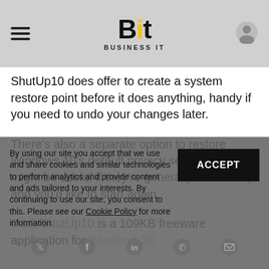Bit — Business IT
ShutUp10 does offer to create a system restore point before it does anything, handy if you need to undo your changes later.
There's also a separate option to restore Windows 10's default privacy settings, which might be useful if they're generally messed up and you'd like to start again.
O&O ShutUp10 is a 109KB freeware application for Windows 10.
By using our site you accept that we use and share cookies and similar technologies to perform analytics and provide content and ads tailored to your interests. By continuing to use our site, you consent to this. Please see our Cookie Policy for more information.